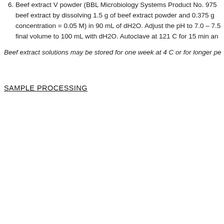6. Beef extract V powder (BBL Microbiology Systems Product No. 975... beef extract by dissolving 1.5 g of beef extract powder and 0.375 g of... concentration = 0.05 M) in 90 mL of dH2O. Adjust the pH to 7.0 – 7.5... final volume to 100 mL with dH2O. Autoclave at 121 C for 15 min an...
Beef extract solutions may be stored for one week at 4 C or for longer pe...
SAMPLE PROCESSING
Step 1. To measure the concentration of coliphage in water samples, use... from the pH-adjusted 1MDS eluate as described in the Elution Procedu... Virus Monitoring Protocol .
Step 2. Filter the coliphage sample through a 0.45 μm sterilizing filter.
Step 3. Assay ten 1 mL volumes each for somatic and male-specific coli... remaining eluate at 4 C to serve as a reserve in the event of sample con... densities. If the coliphage density is suspected or demonstrated to ha...